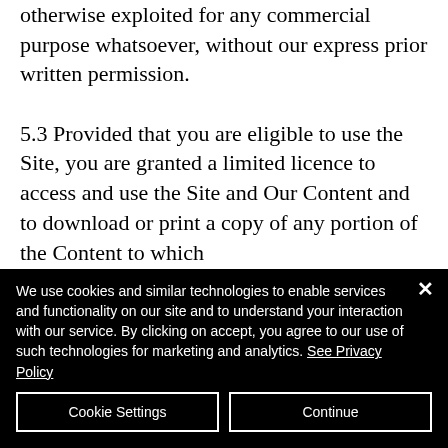otherwise exploited for any commercial purpose whatsoever, without our express prior written permission.
5.3 Provided that you are eligible to use the Site, you are granted a limited licence to access and use the Site and Our Content and to download or print a copy of any portion of the Content to which
We use cookies and similar technologies to enable services and functionality on our site and to understand your interaction with our service. By clicking on accept, you agree to our use of such technologies for marketing and analytics. See Privacy Policy